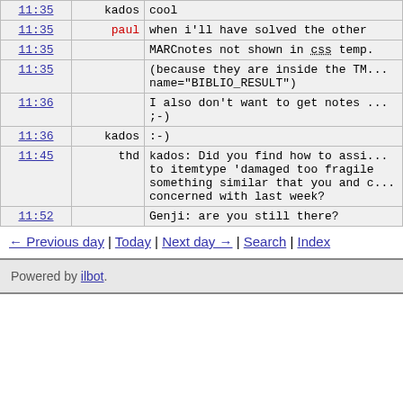| time | nick | message |
| --- | --- | --- |
| 11:35 | kados | cool |
| 11:35 | paul | when i'll have solved the other |
| 11:35 |  | MARCnotes not shown in CSS temp. |
| 11:35 |  | (because they are inside the TM... name="BIBLIO_RESULT") |
| 11:36 |  | I also don't want to get notes ... ;-) |
| 11:36 | kados | :-) |
| 11:45 | thd | kados: Did you find how to assi... to itemtype 'damaged too fragile something similar that you and c... concerned with last week? |
| 11:52 |  | Genji: are you still there? |
← Previous day | Today | Next day → | Search | Index
Powered by ilbot.